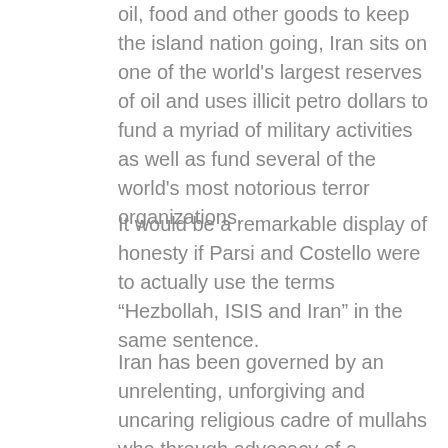oil, food and other goods to keep the island nation going, Iran sits on one of the world's largest reserves of oil and uses illicit petro dollars to fund a myriad of military activities as well as fund several of the world's most notorious terror organizations.
It would be a remarkable display of honesty if Parsi and Costello were to actually use the terms “Hezbollah, ISIS and Iran” in the same sentence.
Iran has been governed by an unrelenting, unforgiving and uncaring religious cadre of mullahs who through advocacy of a particularly harsh and radicalized brand of Islam have managed to oppress the Iranian people for decades.